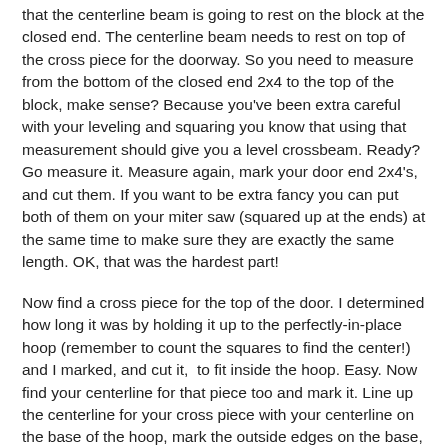that the centerline beam is going to rest on the block at the closed end. The centerline beam needs to rest on top of the cross piece for the doorway. So you need to measure from the bottom of the closed end 2x4 to the top of the block, make sense? Because you've been extra careful with your leveling and squaring you know that using that measurement should give you a level crossbeam. Ready? Go measure it. Measure again, mark your door end 2x4's, and cut them. If you want to be extra fancy you can put both of them on your miter saw (squared up at the ends) at the same time to make sure they are exactly the same length. OK, that was the hardest part!
Now find a cross piece for the top of the door. I determined how long it was by holding it up to the perfectly-in-place hoop (remember to count the squares to find the center!) and I marked, and cut it,  to fit inside the hoop. Easy. Now find your centerline for that piece too and mark it. Line up the centerline for your cross piece with your centerline on the base of the hoop, mark the outside edges on the base, and that is the opening for your door. How fun is that?